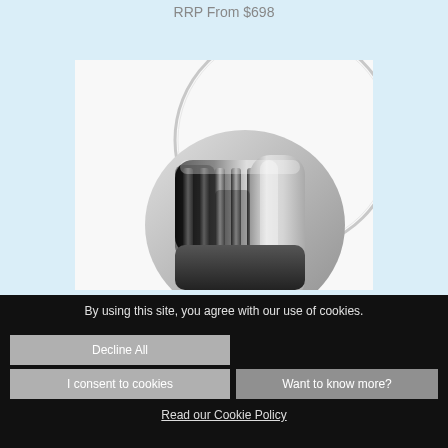RRP From $698
[Figure (photo): Close-up product photo of a chrome bathroom tap/shower valve handle with circular backplate, showing polished chrome finish with ribbed cylindrical handle]
By using this site, you agree with our use of cookies.
Decline All
I consent to cookies
Want to know more?
Read our Cookie Policy